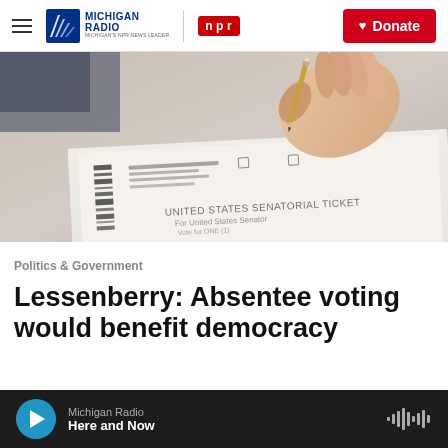Michigan Radio — NPR | Donate
[Figure (photo): Close-up photo of a hand holding a pencil over a United States Senatorial Ticket ballot paper.]
Politics & Government
Lessenberry: Absentee voting would benefit democracy
Michigan Radio | Here and Now